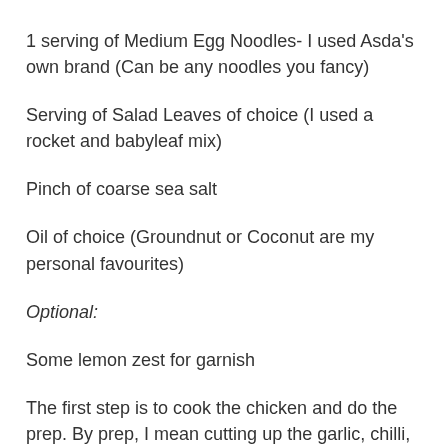1 serving of Medium Egg Noodles- I used Asda's own brand (Can be any noodles you fancy)
Serving of Salad Leaves of choice (I used a rocket and babyleaf mix)
Pinch of coarse sea salt
Oil of choice (Groundnut or Coconut are my personal favourites)
Optional:
Some lemon zest for garnish
The first step is to cook the chicken and do the prep. By prep, I mean cutting up the garlic, chilli, ginger (if you didn't use paste), chicken, and juicing the lemon. When juicing the lemon, get as